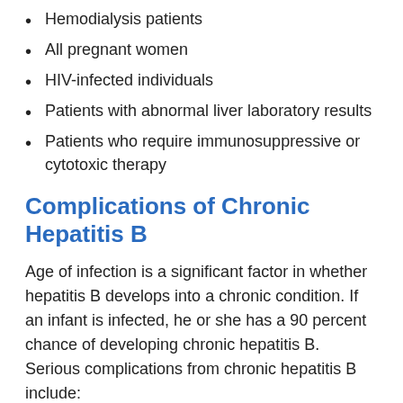Hemodialysis patients
All pregnant women
HIV-infected individuals
Patients with abnormal liver laboratory results
Patients who require immunosuppressive or cytotoxic therapy
Complications of Chronic Hepatitis B
Age of infection is a significant factor in whether hepatitis B develops into a chronic condition. If an infant is infected, he or she has a 90 percent chance of developing chronic hepatitis B. Serious complications from chronic hepatitis B include:
Cirrhosis—Inflammation from hepatitis B